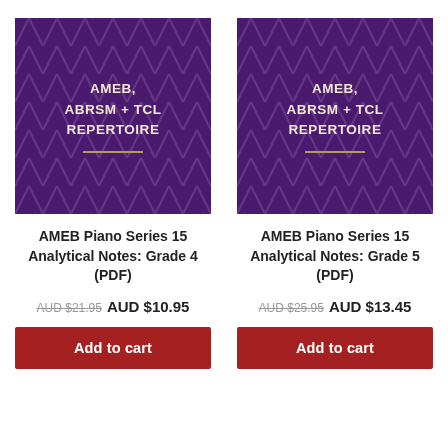[Figure (illustration): Purple book cover with herringbone pattern and text: AMEB, ABRSM + TCL REPERTOIRE with gold decorative line]
AMEB Piano Series 15 Analytical Notes: Grade 4 (PDF)
AUD $21.95 AUD $10.95
Add to cart
[Figure (illustration): Purple book cover with herringbone pattern and text: AMEB, ABRSM + TCL REPERTOIRE with gold decorative line]
AMEB Piano Series 15 Analytical Notes: Grade 5 (PDF)
AUD $25.95 AUD $13.45
Add to cart